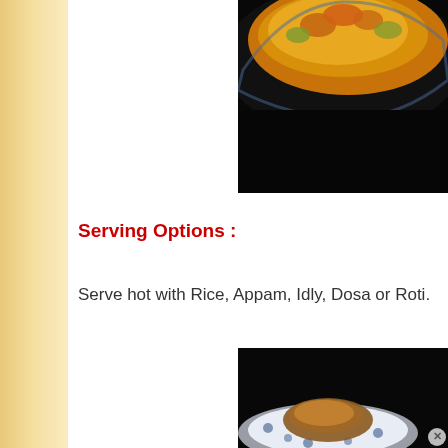[Figure (photo): Food photo showing a dish with vegetables in yellow curry/sauce on a dark plate, viewed from above against black background]
Serving Options :
Serve hot with Rice, Appam, Idly, Dosa or Roti.
[Figure (photo): Food photo showing a decorated ceramic bowl/plate with food, partially visible, against dark background]